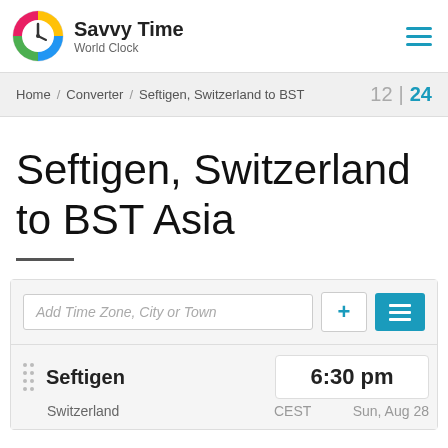Savvy Time World Clock
Home / Converter / Seftigen, Switzerland to BST  12 | 24
Seftigen, Switzerland to BST Asia
Add Time Zone, City or Town
| City | Time | Timezone | Date |
| --- | --- | --- | --- |
| Seftigen | 6:30 pm | CEST | Sun, Aug 28 |
| Switzerland |  | CEST | Sun, Aug 28 |